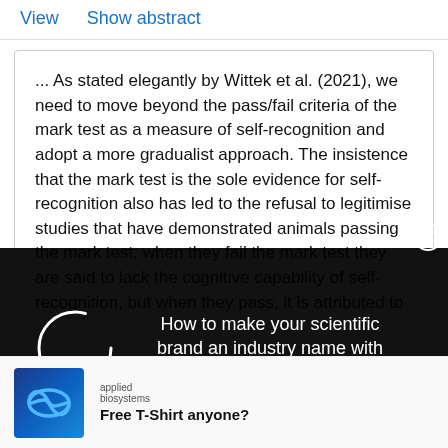View    Show abstract
... As stated elegantly by Wittek et al. (2021), we need to move beyond the pass/fail criteria of the mark test as a measure of self-recognition and adopt a more gradualist approach. The insistence that the mark test is the sole evidence for self-recognition also has led to the refusal to legitimise studies that have demonstrated animals passing the mark test; when they fail the mark test they are said to lack the cognitive capability of self-recognition, but when they pass, it is attributed to
[Figure (other): Dark overlay popup with a loading spinner on the left and text on the right reading 'How to make your scientific brand an industry name with always-on marketing', with a close button (X) in the top right corner]
[Figure (other): Advertisement banner with Applied Biosystems logo (infinity symbol on blue background) and text 'Free T-Shirt anyone?']